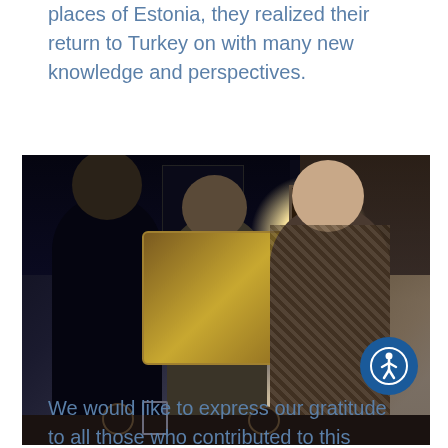places of Estonia, they realized their return to Turkey on with many new knowledge and perspectives.
[Figure (photo): Three people standing together indoors in a dimly lit room, holding a wooden plaque or framed item together. The person on the left wears a dark sweater, the middle person wears a light jacket, and the person on the right wears a patterned dress. A bright light flare is visible in the background on the right side. An accessibility icon (person in circle, blue background) is overlaid in the lower right corner of the photo.]
We would like to express our gratitude to all those who contributed to this valuable study visit and